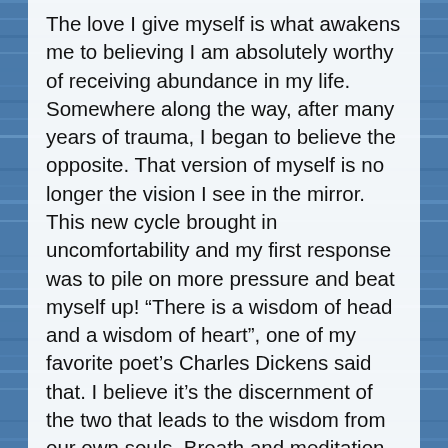The love I give myself is what awakens me to believing I am absolutely worthy of receiving abundance in my life. Somewhere along the way, after many years of trauma, I began to believe the opposite. That version of myself is no longer the vision I see in the mirror. This new cycle brought in uncomfortability and my first response was to pile on more pressure and beat myself up! “There is a wisdom of head and a wisdom of heart”, one of my favorite poet’s Charles Dickens said that. I believe it’s the discernment of the two that leads to the wisdom from our own souls. Breath and meditation allow me to feel into what is trying to come to the surface. Stagnant energy that’s been awaiting an answer from my body. In the past I would overextend my body by overexercising and distract myself with substances to block out the messages. Healing has provided me the space to listen instead